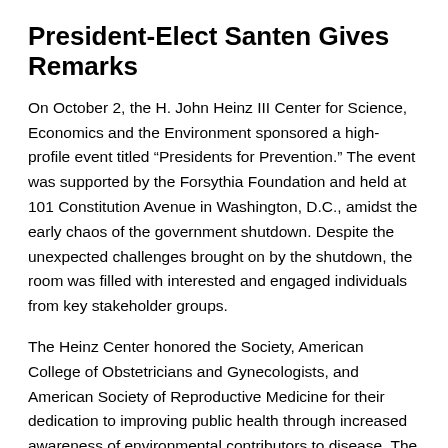President-Elect Santen Gives Remarks
On October 2, the H. John Heinz III Center for Science, Economics and the Environment sponsored a high-profile event titled “Presidents for Prevention.” The event was supported by the Forsythia Foundation and held at 101 Constitution Avenue in Washington, D.C., amidst the early chaos of the government shutdown. Despite the unexpected challenges brought on by the shutdown, the room was filled with interested and engaged individuals from key stakeholder groups.
The Heinz Center honored the Society, American College of Obstetricians and Gynecologists, and American Society of Reproductive Medicine for their dedication to improving public health through increased awareness of environmental contributors to disease. The Heinz Center and fellow honorees unanimously recognized the Society’s pioneering